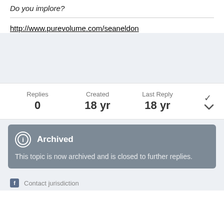Do you implore?
http://www.purevolume.com/seaneldon
Replies 0  Created 18 yr  Last Reply 18 yr
Archived
This topic is now archived and is closed to further replies.